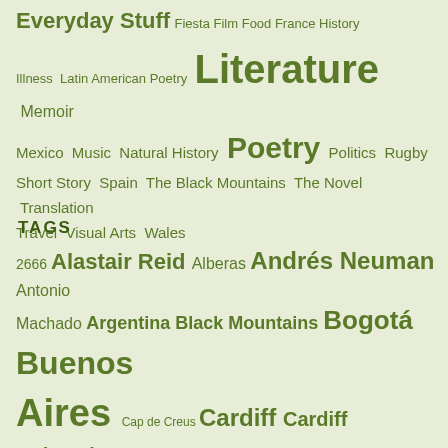Everyday Stuff Fiesta Film Food France History Illness Latin American Poetry Literature Memoir Mexico Music Natural History Poetry Politics Rugby Short Story Spain The Black Mountains The Novel Translation Travel Visual Arts Wales
TAGS
2666 Alastair Reid Alberas Andrés Neuman Antonio Machado Argentina Black Mountains Bogotá Buenos Aires Cap de Creus Cardiff Cardiff University Carlos Fuentes Che Guevara Collioure Colombia COVID-19 Dario Jaramillo Agudelo Derek Walcott Eduardo Halfon Enrique Vila-Matas Ernesto Cardenal Fiction France Franz Kafka Gabriel Garcia